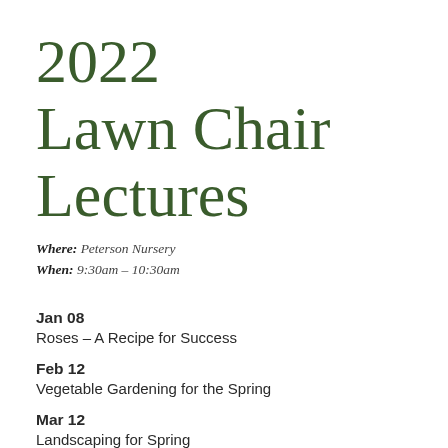2022 Lawn Chair Lectures
Where: Peterson Nursery
When: 9:30am – 10:30am
Jan 08
Roses – A Recipe for Success
Feb 12
Vegetable Gardening for the Spring
Mar 12
Landscaping for Spring
Mar 19**
Do's & Don'ts of Florida Gardening